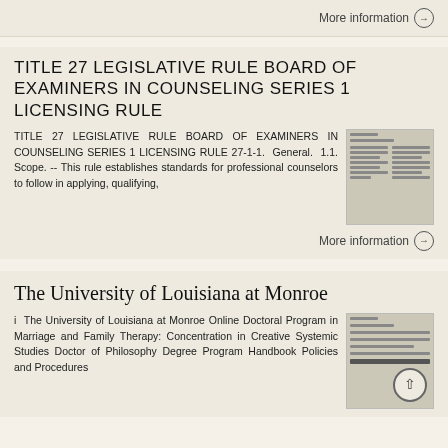More information →
TITLE 27 LEGISLATIVE RULE BOARD OF EXAMINERS IN COUNSELING SERIES 1 LICENSING RULE
TITLE 27 LEGISLATIVE RULE BOARD OF EXAMINERS IN COUNSELING SERIES 1 LICENSING RULE 27-1-1. General. 1.1. Scope. -- This rule establishes standards for professional counselors to follow in applying, qualifying,
More information →
The University of Louisiana at Monroe
i The University of Louisiana at Monroe Online Doctoral Program in Marriage and Family Therapy: Concentration in Creative Systemic Studies Doctor of Philosophy Degree Program Handbook Policies and Procedures